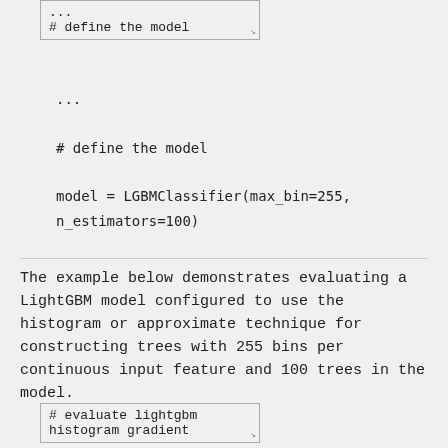[Figure (screenshot): Code box at top showing '...' and '# define the model']
...

# define the model

model = LGBMClassifier(max_bin=255,
n_estimators=100)
The example below demonstrates evaluating a LightGBM model configured to use the histogram or approximate technique for constructing trees with 255 bins per continuous input feature and 100 trees in the model.
[Figure (screenshot): Code box at bottom showing '# evaluate lightgbm' and 'histogram gradient']